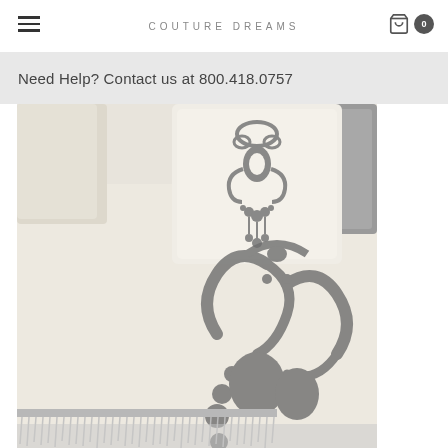COUTURE DREAMS
Need Help? Contact us at 800.418.0757
[Figure (photo): Close-up photo of luxury bedding set from Couture Dreams. Features cream/ivory duvet cover with large grey/charcoal damask scroll embroidery pattern. A decorative throw pillow with matching grey chandelier/damask motif sits against grey accent pillows. The bedding edge has metallic silver fringe trim detail.]